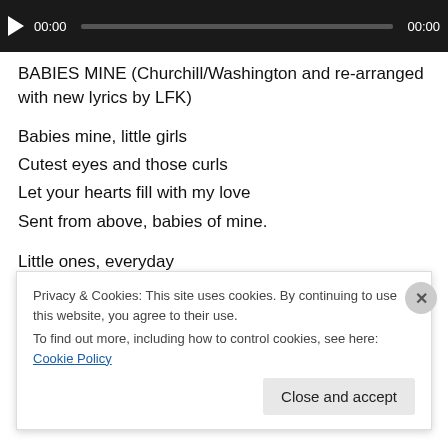[Figure (other): Audio player bar with play button, timestamp 00:00 on left, progress track, and 00:00 on right, on dark background]
BABIES MINE (Churchill/Washington and re-arranged with new lyrics by LFK)
Babies mine, little girls
Cutest eyes and those curls
Let your hearts fill with my love
Sent from above, babies of mine.

Little ones, everyday
I am yours, let me say
You are so precious to me
Privacy & Cookies: This site uses cookies. By continuing to use this website, you agree to their use.
To find out more, including how to control cookies, see here: Cookie Policy

Close and accept